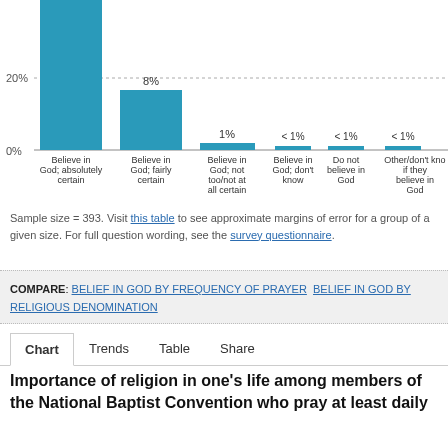[Figure (bar-chart): Belief in God (partial view)]
Sample size = 393. Visit this table to see approximate margins of error for a group of a given size. For full question wording, see the survey questionnaire.
COMPARE: BELIEF IN GOD BY FREQUENCY OF PRAYER   BELIEF IN GOD BY RELIGIOUS DENOMINATION
Chart   Trends   Table   Share
Importance of religion in one's life among members of the National Baptist Convention who pray at least daily